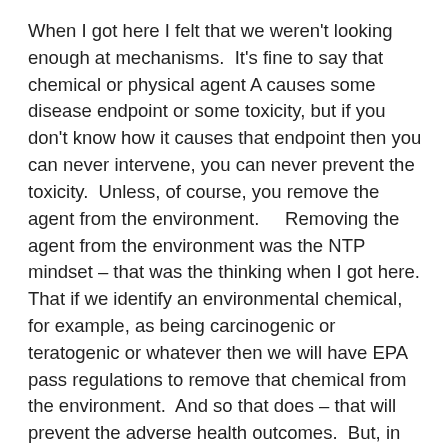When I got here I felt that we weren't looking enough at mechanisms.  It's fine to say that chemical or physical agent A causes some disease endpoint or some toxicity, but if you don't know how it causes that endpoint then you can never intervene, you can never prevent the toxicity.  Unless, of course, you remove the agent from the environment.    Removing the agent from the environment was the NTP mindset – that was the thinking when I got here.  That if we identify an environmental chemical, for example, as being carcinogenic or teratogenic or whatever then we will have EPA pass regulations to remove that chemical from the environment.  And so that does – that will prevent the adverse health outcomes.  But, in some cases, some of these products – take lead and mercury and some of these agents, for example, automobile exhaust, we can reduce it but it's going to be a long time before we get many of these things out of our environment and the question is what happens to us, our next generation and generations after that while we're doing